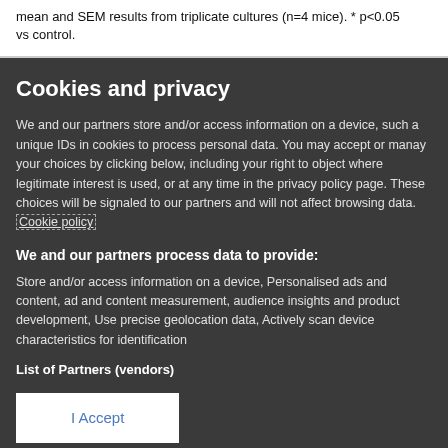mean and SEM results from triplicate cultures (n=4 mice). * p<0.05 vs control.
Cookies and privacy
We and our partners store and/or access information on a device, such as unique IDs in cookies to process personal data. You may accept or manage your choices by clicking below, including your right to object where legitimate interest is used, or at any time in the privacy policy page. These choices will be signaled to our partners and will not affect browsing data. Cookie policy
We and our partners process data to provide:
Store and/or access information on a device, Personalised ads and content, ad and content measurement, audience insights and product development, Use precise geolocation data, Actively scan device characteristics for identification
List of Partners (vendors)